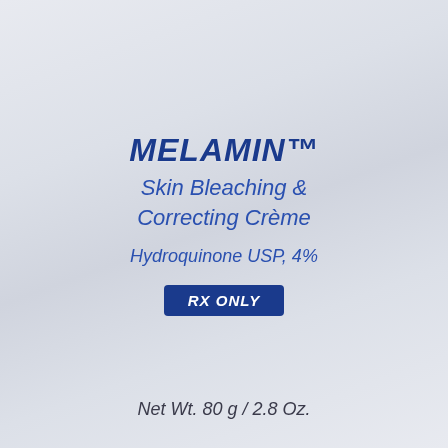MELAMIN™
Skin Bleaching & Correcting Crème
Hydroquinone USP, 4%
RX ONLY
Net Wt. 80 g / 2.8 Oz.